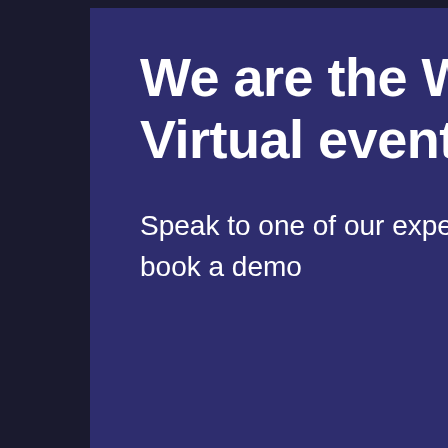We are the Webinar & Virtual event Experts.
Speak to one of our experts today or book a demo
Get in Touch →